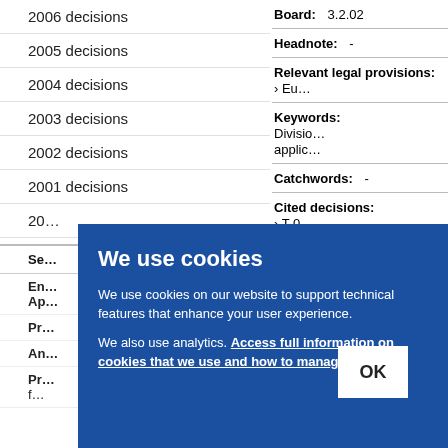2006 decisions
2005 decisions
2004 decisions
2003 decisions
2002 decisions
2001 decisions
20[00 decisions] (partially visible)
Se[arch] (partially visible)
En[...] Ap[...] (partially visible)
Pr[...] (partially visible)
An[...] (partially visible)
Pr[...] f[...] (partially visible)
| Field | Value |
| --- | --- |
| Board: | 3.2.02 |
| Headnote: | - |
| Relevant legal provisions: | > Eu[...] |
| Keywords: | Divisio[n] applic[ation] |
| Catchwords: | - |
| Cited decisions: | > T 0[...]
> T 0[...]
> T 0[...] |
[Figure (screenshot): Cookie consent dialog overlay on a legal decisions website. Blue background (#1b50a0). Title: 'We use cookies'. Body text: 'We use cookies on our website to support technical features that enhance your user experience.' and 'We also use analytics. Access full information on cookies that we use and how to manage them' (link underlined). OK button in white box on the right.]